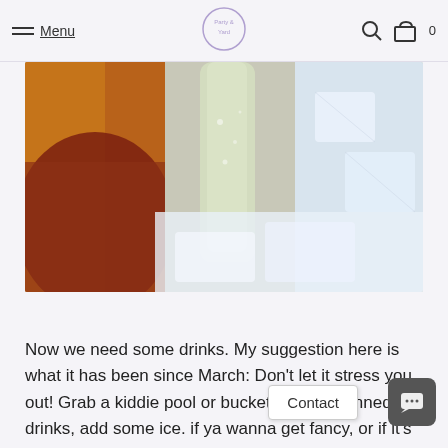Menu | [Logo: Party & Yard] | [Search icon] | [Cart icon] 0
[Figure (photo): Close-up photo of glass bottles chilling in ice, including what appears to be beer or cider bottles surrounded by ice cubes. Warm amber and cool icy tones.]
Now we need some drinks. My suggestion here is what it has been since March: Don't let it stress you out! Grab a kiddie pool or bucket, fill with canned drinks, add some ice. if ya wanna get fancy, or if it's gonna be really cold where you are- maybe consider an outdoor cocoa bar. But if it's going to be use in a social pod, I'd recommend a hot water dispenser and disposable cups with stirrers instead. Set out a tray of tea bags/cocoa